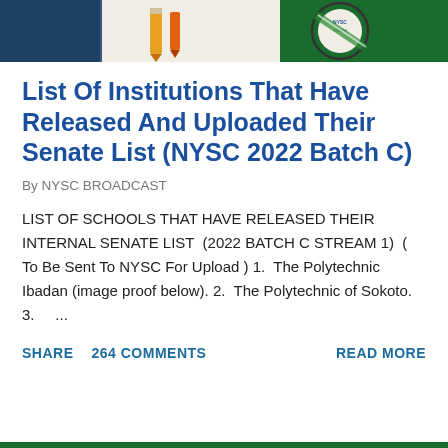[Figure (photo): Partial banner image showing NYSC-related imagery with green background, includes what appears to be NYSC logo/badge and yellow pen/pencil on left side]
List Of Institutions That Have Released And Uploaded Their Senate List (NYSC 2022 Batch C)
By NYSC BROADCAST
LIST OF SCHOOLS THAT HAVE RELEASED THEIR INTERNAL SENATE LIST  (2022 BATCH C STREAM 1)  ( To Be Sent To NYSC For Upload ) 1.  The Polytechnic Ibadan (image proof below). 2.  The Polytechnic of Sokoto.  3.      ...
SHARE   264 COMMENTS   READ MORE